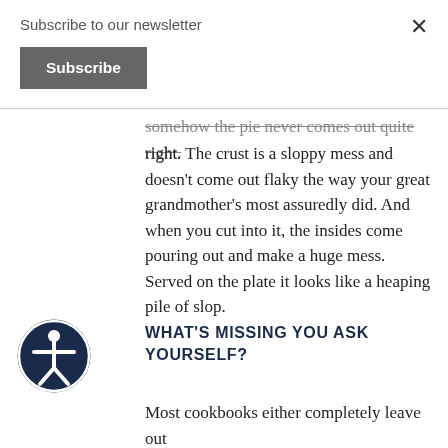Subscribe to our newsletter
Subscribe
somehow the pie never comes out quite right. The crust is a sloppy mess and doesn't come out flaky the way your great grandmother's most assuredly did. And when you cut into it, the insides come pouring out and make a huge mess. Served on the plate it looks like a heaping pile of slop.
WHAT'S MISSING YOU ASK YOURSELF?
[Figure (illustration): Accessibility icon: circular dark blue badge with a white human figure (stick person with arms out) representing accessibility features]
Most cookbooks either completely leave out